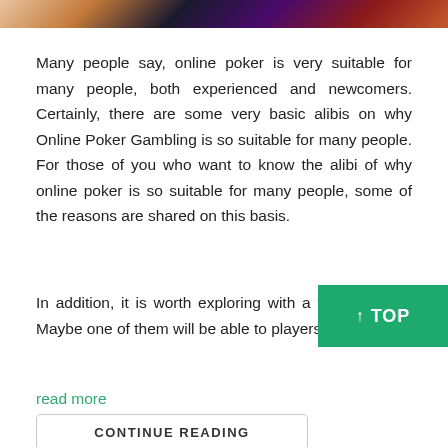[Figure (photo): Partial image strip at top of page showing cards and colorful gambling-related imagery]
Many people say, online poker is very suitable for many people, both experienced and newcomers. Certainly, there are some very basic alibis on why Online Poker Gambling is so suitable for many people. For those of you who want to know the alibi of why online poker is so suitable for many people, some of the reasons are shared on this basis.
In addition, it is worth exploring with a va strategies. Maybe one of them will be able to players, and in the
read more
CONTINUE READING